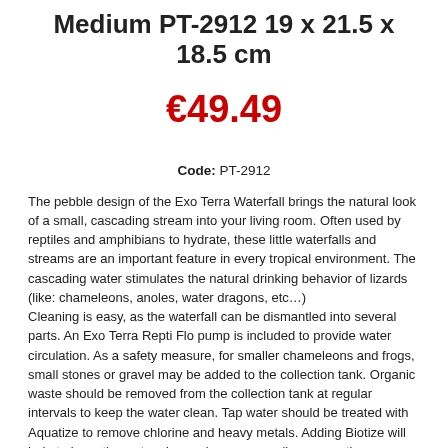Medium PT-2912 19 x 21.5 x 18.5 cm
€49.49
Code: PT-2912
The pebble design of the Exo Terra Waterfall brings the natural look of a small, cascading stream into your living room. Often used by reptiles and amphibians to hydrate, these little waterfalls and streams are an important feature in every tropical environment. The cascading water stimulates the natural drinking behavior of lizards (like: chameleons, anoles, water dragons, etc…)
Cleaning is easy, as the waterfall can be dismantled into several parts. An Exo Terra Repti Flo pump is included to provide water circulation. As a safety measure, for smaller chameleons and frogs, small stones or gravel may be added to the collection tank. Organic waste should be removed from the collection tank at regular intervals to keep the water clean. Tap water should be treated with Aquatize to remove chlorine and heavy metals. Adding Biotize will help to keep the water cleaner longer, as well as promoting